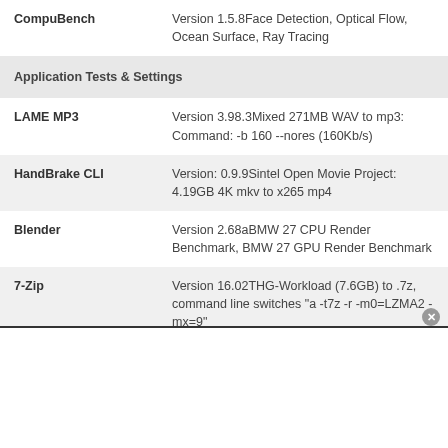| CompuBench | Version 1.5.8Face Detection, Optical Flow, Ocean Surface, Ray Tracing |
| Application Tests & Settings |  |
| LAME MP3 | Version 3.98.3Mixed 271MB WAV to mp3: Command: -b 160 --nores (160Kb/s) |
| HandBrake CLI | Version: 0.9.9Sintel Open Movie Project: 4.19GB 4K mkv to x265 mp4 |
| Blender | Version 2.68aBMW 27 CPU Render Benchmark, BMW 27 GPU Render Benchmark |
| 7-Zip | Version 16.02THG-Workload (7.6GB) to .7z, command line switches "a -t7z -r -m0=LZMA2 -mx=9" |
| Adobe After Effects CC | Release 2015.3.0, Version 13.8.0.144PCMark-driven routine |